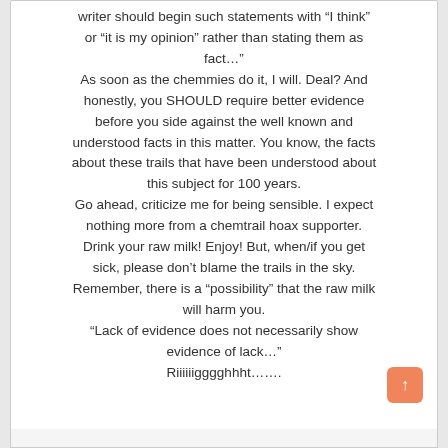writer should begin such statements with “I think” or “it is my opinion” rather than stating them as fact…”
As soon as the chemmies do it, I will. Deal? And honestly, you SHOULD require better evidence before you side against the well known and understood facts in this matter. You know, the facts about these trails that have been understood about this subject for 100 years.
Go ahead, criticize me for being sensible. I expect nothing more from a chemtrail hoax supporter. Drink your raw milk! Enjoy! But, when/if you get sick, please don’t blame the trails in the sky. Remember, there is a “possibility” that the raw milk will harm you.
“Lack of evidence does not necessarily show evidence of lack…”
Riiiiiigggghhht…….